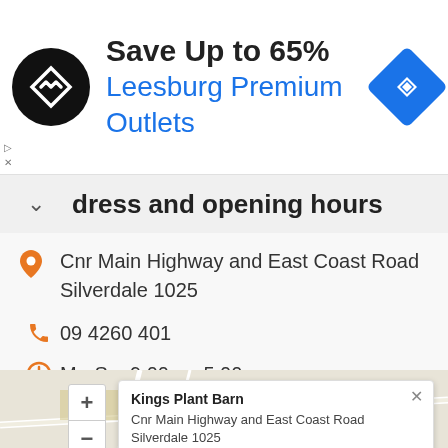[Figure (screenshot): Advertisement banner for Leesburg Premium Outlets with logo, text 'Save Up to 65%', and navigation icon]
dress and opening hours
Cnr Main Highway and East Coast Road Silverdale 1025
09 4260 401
Mo-Su: 9:00am-5:00pm
[Figure (map): Map showing Kings Plant Barn location at Cnr Main Highway and East Coast Road, Silverdale 1025, with zoom controls and popup label]